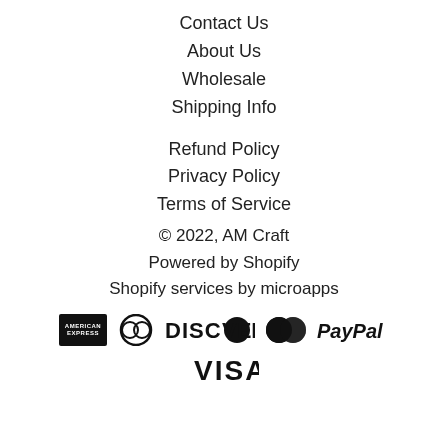Contact Us
About Us
Wholesale
Shipping Info
Refund Policy
Privacy Policy
Terms of Service
© 2022, AM Craft
Powered by Shopify
Shopify services by microapps
[Figure (logo): Payment method icons: American Express, Diners Club, Discover, MasterCard, PayPal, Visa]